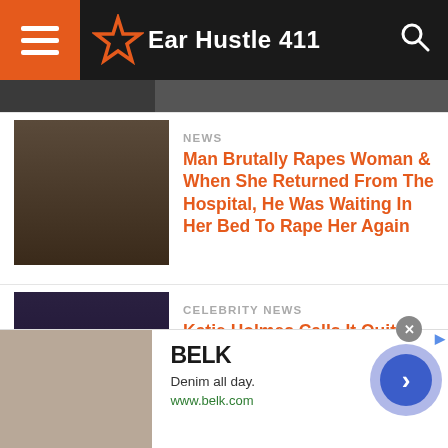Ear Hustle 411
[Figure (photo): Partially visible thumbnail image at top]
NEWS
Man Brutally Rapes Woman & When She Returned From The Hospital, He Was Waiting In Her Bed To Rape Her Again
CELEBRITY NEWS
Katie Holmes Calls It Quits With Jamie Fox After 5 Years Of Pretending They Weren't Dating Apparently Over Trust Issues
NEWS
[Figure (photo): BELK advertisement - Denim all day. www.belk.com]